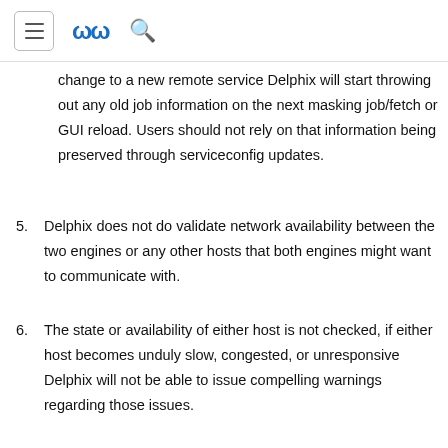[navigation header with hamburger menu, Delphix logo, search icon]
change to a new remote service Delphix will start throwing out any old job information on the next masking job/fetch or GUI reload. Users should not rely on that information being preserved through serviceconfig updates.
5. Delphix does not do validate network availability between the two engines or any other hosts that both engines might want to communicate with.
6. The state or availability of either host is not checked, if either host becomes unduly slow, congested, or unresponsive Delphix will not be able to issue compelling warnings regarding those issues.